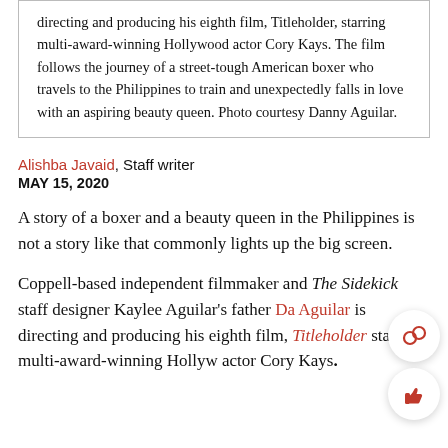directing and producing his eighth film, Titleholder, starring multi-award-winning Hollywood actor Cory Kays. The film follows the journey of a street-tough American boxer who travels to the Philippines to train and unexpectedly falls in love with an aspiring beauty queen. Photo courtesy Danny Aguilar.
Alishba Javaid, Staff writer
MAY 15, 2020
A story of a boxer and a beauty queen in the Philippines is not a story like that commonly lights up the big screen.
Coppell-based independent filmmaker and The Sidekick staff designer Kaylee Aguilar's father Danny Aguilar is directing and producing his eighth film, Titleholder starring multi-award-winning Hollywood actor Cory Kays.